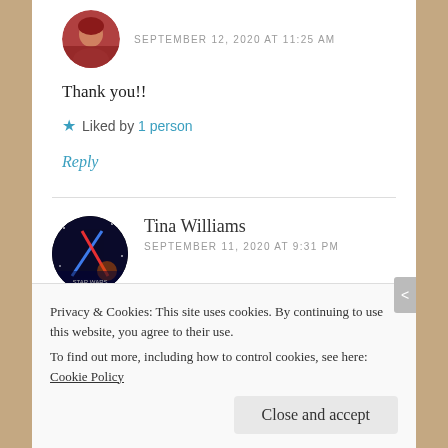[Figure (photo): Circular avatar photo of a person with red hair]
SEPTEMBER 12, 2020 AT 11:25 AM
Thank you!!
Liked by 1 person
Reply
[Figure (photo): Circular avatar photo with Star Wars movie poster style image]
Tina Williams
SEPTEMBER 11, 2020 AT 9:31 PM
Privacy & Cookies: This site uses cookies. By continuing to use this website, you agree to their use. To find out more, including how to control cookies, see here: Cookie Policy
Close and accept